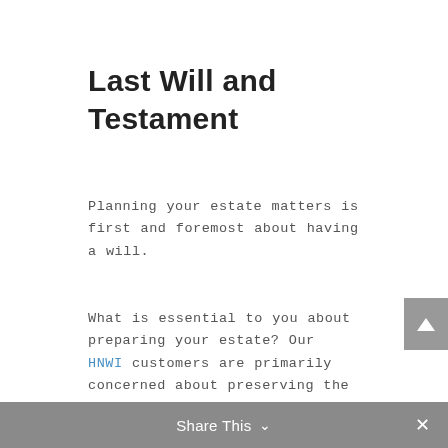Last Will and Testament
Planning your estate matters is first and foremost about having a will.
What is essential to you about preparing your estate? Our HNWI customers are primarily concerned about preserving the family wealth, offering a partner and kids, moving the reins of the family business, and leaving a legacy to a charitable ca…